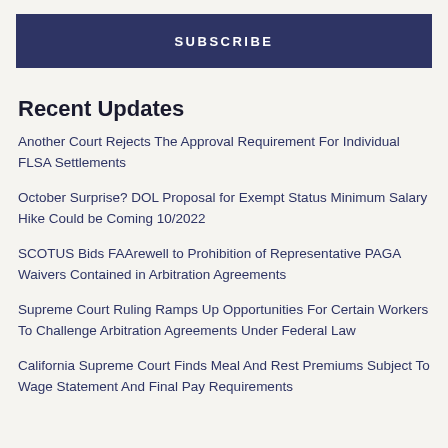SUBSCRIBE
Recent Updates
Another Court Rejects The Approval Requirement For Individual FLSA Settlements
October Surprise? DOL Proposal for Exempt Status Minimum Salary Hike Could be Coming 10/2022
SCOTUS Bids FAArewell to Prohibition of Representative PAGA Waivers Contained in Arbitration Agreements
Supreme Court Ruling Ramps Up Opportunities For Certain Workers To Challenge Arbitration Agreements Under Federal Law
California Supreme Court Finds Meal And Rest Premiums Subject To Wage Statement And Final Pay Requirements